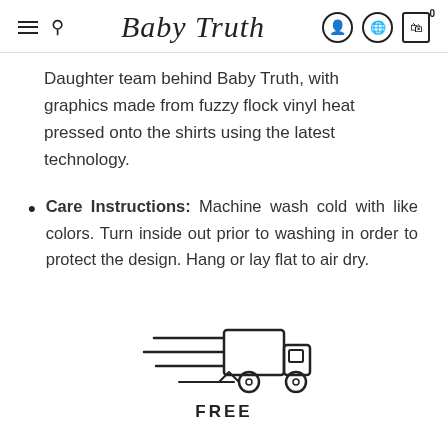Baby Truth
Daughter team behind Baby Truth, with graphics made from fuzzy flock vinyl heat pressed onto the shirts using the latest technology.
Care Instructions: Machine wash cold with like colors. Turn inside out prior to washing in order to protect the design. Hang or lay flat to air dry.
[Figure (illustration): Delivery truck icon with speed lines indicating free shipping]
FREE